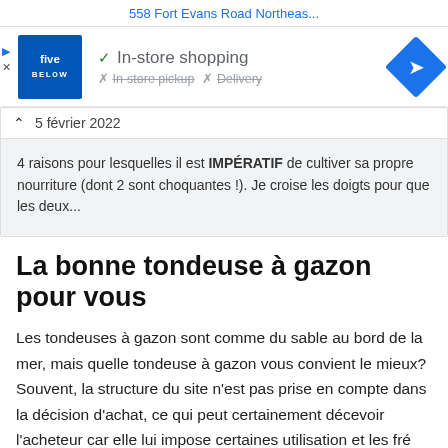558 Fort Evans Road Northeas...
[Figure (screenshot): Five Below store logo and in-store shopping info with navigation diamond icon. Shows checkmark for In-store shopping, X for In-store pickup, X for Delivery.]
février 2022
4 raisons pour lesquelles il est IMPÉRATIF de cultiver sa propre nourriture (dont 2 sont choquantes !). Je croise les doigts pour que les deux...
La bonne tondeuse à gazon pour vous
Les tondeuses à gazon sont comme du sable au bord de la mer, mais quelle tondeuse à gazon vous convient le mieux? Souvent, la structure du site n'est pas prise en compte dans la décision d'achat, ce qui peut certainement décevoir